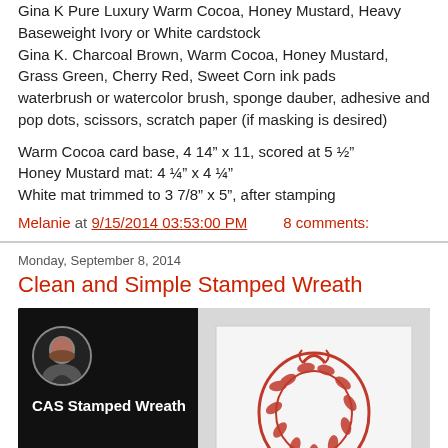Gina K Pure Luxury Warm Cocoa, Honey Mustard, Heavy Baseweight Ivory or White cardstock
Gina K. Charcoal Brown, Warm Cocoa, Honey Mustard, Grass Green, Cherry Red, Sweet Corn ink pads
waterbrush or watercolor brush, sponge dauber, adhesive and pop dots, scissors, scratch paper (if masking is desired)
Warm Cocoa card base, 4 14” x 11, scored at 5 ½”
Honey Mustard mat: 4 ¼” x 4 ¼”
White mat trimmed to 3 7/8” x 5”, after stamping
Melanie at 9/15/2014 03:53:00 PM   8 comments:
Monday, September 8, 2014
Clean and Simple Stamped Wreath
[Figure (screenshot): Video thumbnail showing a woman host on the left with dark background and text 'CAS Stamped Wreath', and on the right a stamped wreath card image in red on light background.]